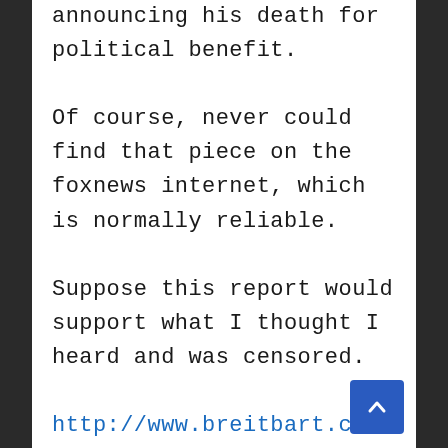announcing his death for political benefit.

Of course, never could find that piece on the foxnews internet, which is normally reliable.

Suppose this report would support what I thought I heard and was censored.

http://www.breitbart.com/Big-Journalism/2014/09/03/nyt-buries-sotloff-family-furious-with-white-house